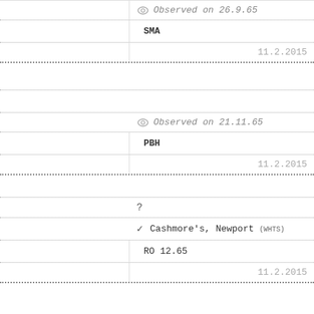Observed on 26.9.65
SMA
11.2.2015
Observed on 21.11.65
PBH
11.2.2015
?
Cashmore's, Newport (WHTS)
RO 12.65
11.2.2015